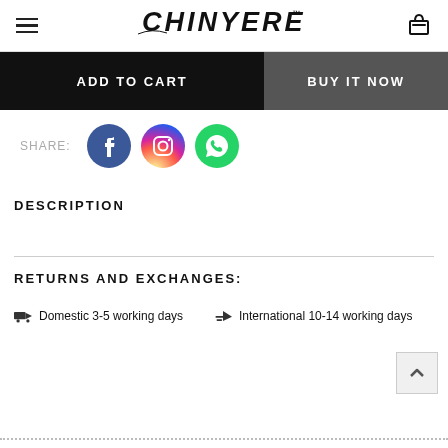CHINYERE™
ADD TO CART | BUY IT NOW
SHARE:
DESCRIPTION
RETURNS AND EXCHANGES:
Domestic 3-5 working days   International 10-14 working days